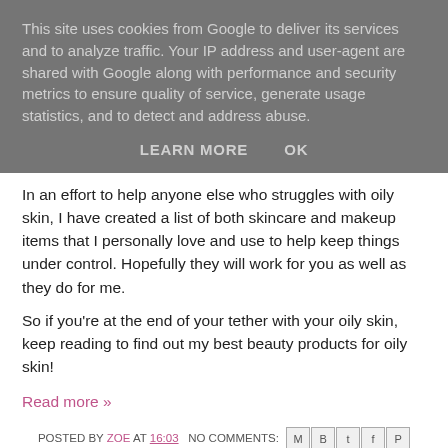This site uses cookies from Google to deliver its services and to analyze traffic. Your IP address and user-agent are shared with Google along with performance and security metrics to ensure quality of service, generate usage statistics, and to detect and address abuse.
LEARN MORE   OK
In an effort to help anyone else who struggles with oily skin, I have created a list of both skincare and makeup items that I personally love and use to help keep things under control. Hopefully they will work for you as well as they do for me.
So if you're at the end of your tether with your oily skin, keep reading to find out my best beauty products for oily skin!
Read more »
POSTED BY ZOE AT 16:03   NO COMMENTS:
LABELS: BENEFIT, HIFAS DA TERRA, INSTANATURAL, MAKEUP, NATURAL, NEAL'S YARD, OILY SKIN, SKINCARE, URBAN DECAY, URBAN VEDA, YIN YANG SKINCARE